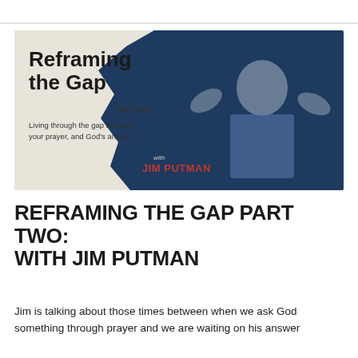[Figure (photo): Promotional banner image for 'Reframing the Gap Part Two with Jim Putman'. Left side has a beige/cream background with bold black text reading 'Reframing the Gap' and subtitle 'Part Two', with smaller text 'Living through the gap between your prayer, and God's answer.' The right side shows a dark navy background with a man in a blue shirt gesturing with both hands raised. Text at lower center reads 'with JIM PUTMAN' in orange/red bold.]
REFRAMING THE GAP PART TWO: WITH JIM PUTMAN
Jim is talking about those times between when we ask God something through prayer and we are waiting on his answer